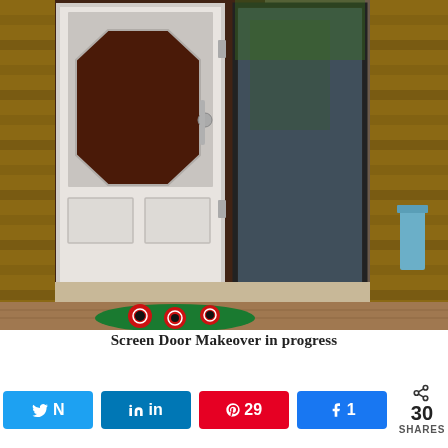[Figure (photo): A white screen door with a large octagonal hole/pet door cutout is shown open against a brick wall exterior. A green welcome mat with red flower/poppy design sits on the wooden deck at the base of the door. A dark glass sliding door is visible to the right, reflecting trees and outdoor scenery.]
Screen Door Makeover in progress
N Tweet  in Share  29 Pin  k Share 1  < 30 SHARES